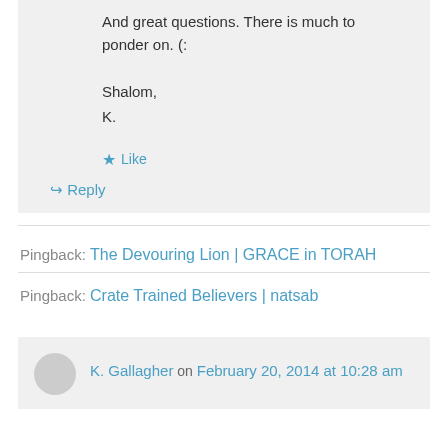And great questions. There is much to ponder on. (:
Shalom,
K.
★ Like
↳ Reply
Pingback: The Devouring Lion | GRACE in TORAH
Pingback: Crate Trained Believers | natsab
K. Gallagher on February 20, 2014 at 10:28 am